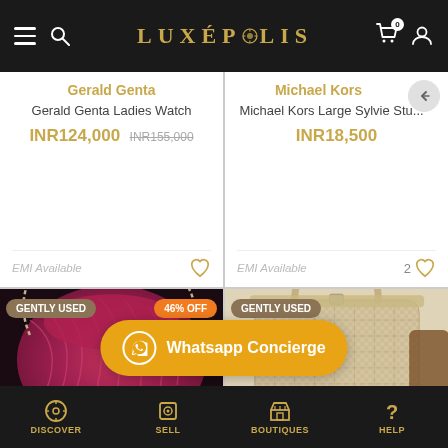[Figure (screenshot): Luxepolis e-commerce app header with hamburger menu, search icon, gold LUXÉPOLIS logo with ornamental medallion, cart icon with badge '0', and user profile icon on dark background]
Gerald Genta
Gerald Genta Ladies Watch
INR124,000 INR155,000
EMI Available
Michael Kors
Michael Kors Large Sylvie Stu...
INR18,500
EMI Available
2
[Figure (photo): Pink/magenta quilted leather handbag with chain strap. Badge: GENTLY USED (brown). Badge: 46% OFF (orange).]
[Figure (photo): White/beige woven leather tote bag. Badge: GENTLY USED (brown).]
Whatsapp Concierge
DISCOVER | SELL | BOUTIQUES | HELP